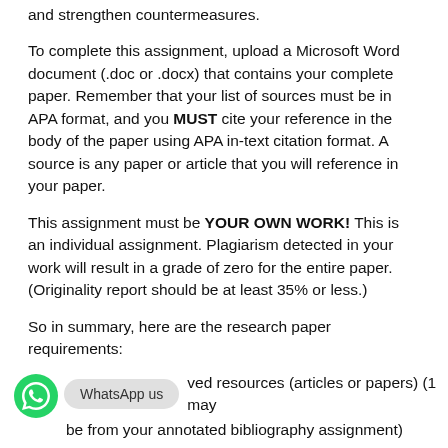and strengthen countermeasures.
To complete this assignment, upload a Microsoft Word document (.doc or .docx) that contains your complete paper. Remember that your list of sources must be in APA format, and you MUST cite your reference in the body of the paper using APA in-text citation format. A source is any paper or article that you will reference in your paper.
This assignment must be YOUR OWN WORK! This is an individual assignment. Plagiarism detected in your work will result in a grade of zero for the entire paper. (Originality report should be at least 35% or less.)
So in summary, here are the research paper requirements:
ved resources (articles or papers) (1 may be from your annotated bibliography assignment)